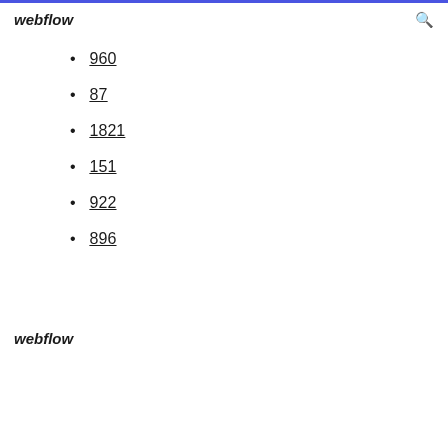webflow
960
87
1821
151
922
896
webflow